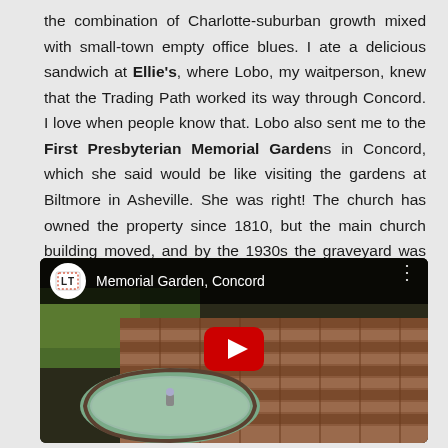the combination of Charlotte-suburban growth mixed with small-town empty office blues. I ate a delicious sandwich at Ellie's, where Lobo, my waitperson, knew that the Trading Path worked its way through Concord. I love when people know that. Lobo also sent me to the First Presbyterian Memorial Gardens in Concord, which she said would be like visiting the gardens at Biltmore in Asheville. She was right! The church has owned the property since 1810, but the main church building moved, and by the 1930s the graveyard was neglected. In the 1930s the Williams family began restoring it, and
[Figure (screenshot): YouTube video thumbnail showing 'Memorial Garden, Concord' with a logo icon, video title, three-dot menu, and a play button over an image of a brick garden with a water feature.]